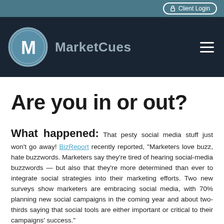Client Login
[Figure (logo): MarketCues logo with circular M icon in blue-grey and text 'MarketCues']
Are you in or out?
What happened: That pesty social media stuff just won't go away! BizReport recently reported, "Marketers love buzz, hate buzzwords. Marketers say they're tired of hearing social-media buzzwords — but also that they're more determined than ever to integrate social strategies into their marketing efforts. Two new surveys show marketers are embracing social media, with 70% planning new social campaigns in the coming year and about two-thirds saying that social tools are either important or critical to their campaigns' success."